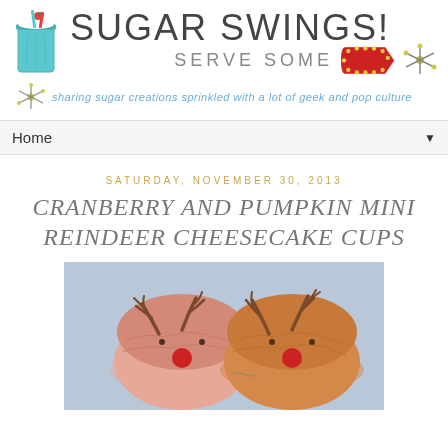[Figure (logo): Sugar Swings! Serve Some blog header with milkshake icon, decorative atom graphics, red arrow marquee sign, and tagline in blue italic text: sharing sugar creations sprinkled with a lot of geek and pop culture]
Home
SATURDAY, NOVEMBER 30, 2013
CRANBERRY AND PUMPKIN MINI REINDEER CHEESECAKE CUPS
[Figure (photo): Two mini reindeer cheesecake cups on a light blue background, each with chocolate antlers, a red candy nose (cherry/red gumball), and small dot eyes, one cheesecake is pink/cranberry and the other is orange/pumpkin]